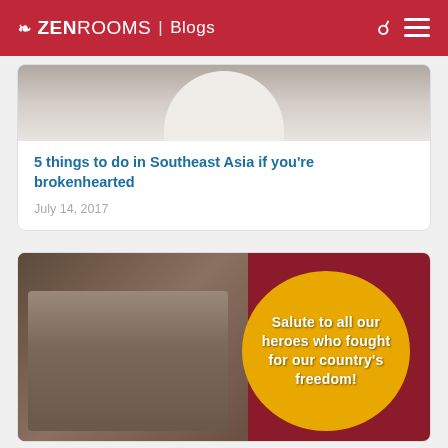ZEN ROOMS | Blogs
[Figure (photo): Cropped photo showing the top of a person in a white shirt, partial face visible]
5 things to do in Southeast Asia if you're brokenhearted
July 14, 2017
[Figure (photo): Philippine monument/statue scene on dark red background, with a golden yellow circle containing text: Salute to all our heroes who fought for our country's freedom!]